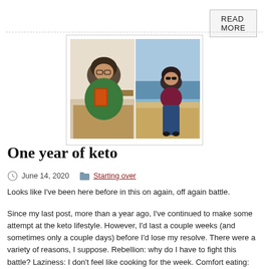READ MORE
[Figure (photo): Before and after photos of a woman: left side shows her in a green top sitting in a chair holding a book, right side shows her in a maroon top standing on a beach]
One year of keto
June 14, 2020   Starting over
Looks like I've been here before in this on again, off again battle.
Since my last post, more than a year ago, I've continued to make some attempt at the keto lifestyle. However, I'd last a couple weeks (and sometimes only a couple days) before I'd lose my resolve. There were a variety of reasons, I suppose. Rebellion: why do I have to fight this battle? Laziness: I don't feel like cooking for the week. Comfort eating: Eating this